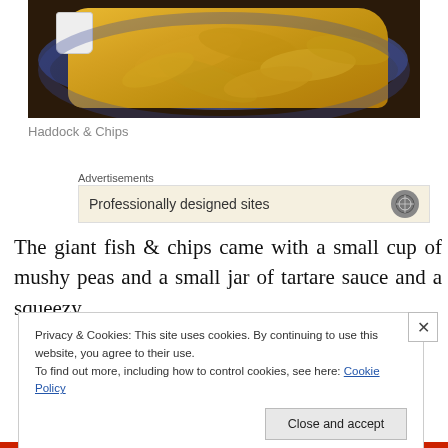[Figure (photo): Photo of a blue decorative plate with large chips (french fries) and a small white cup, on a dark background]
Haddock & Chips
Advertisements
[Figure (screenshot): Advertisement banner: Professionally designed sites with a globe/headphone icon]
The giant fish & chips came with a small cup of mushy peas and a small jar of tartare sauce and a squeezy
Privacy & Cookies: This site uses cookies. By continuing to use this website, you agree to their use.
To find out more, including how to control cookies, see here: Cookie Policy
Close and accept